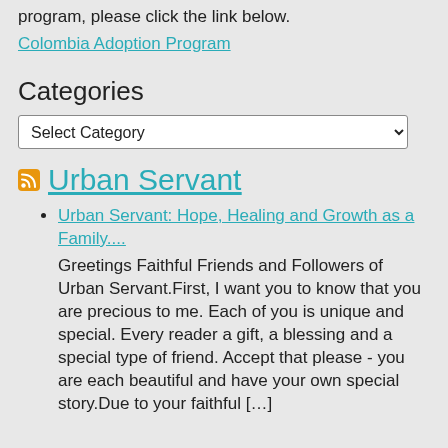program, please click the link below.
Colombia Adoption Program
Categories
Select Category
Urban Servant
Urban Servant: Hope, Healing and Growth as a Family....
Greetings Faithful Friends and Followers of Urban Servant.First, I want you to know that you are precious to me. Each of you is unique and special. Every reader a gift, a blessing and a special type of friend.  Accept that please - you are each beautiful and have your own special story.Due to your faithful […]